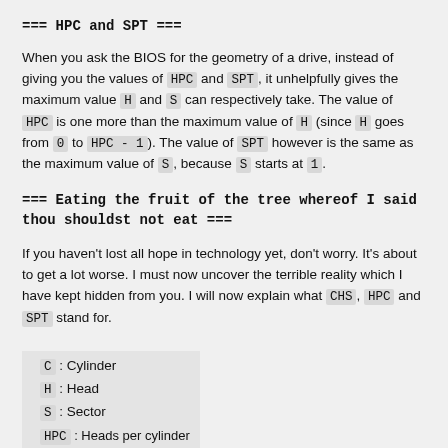=== HPC and SPT ===
When you ask the BIOS for the geometry of a drive, instead of giving you the values of HPC and SPT, it unhelpfully gives the maximum value H and S can respectively take. The value of HPC is one more than the maximum value of H (since H goes from 0 to HPC - 1). The value of SPT however is the same as the maximum value of S, because S starts at 1.
=== Eating the fruit of the tree whereof I said thou shouldst not eat ===
If you haven't lost all hope in technology yet, don't worry. It's about to get a lot worse. I must now uncover the terrible reality which I have kept hidden from you. I will now explain what CHS, HPC and SPT stand for.
C : Cylinder
H : Head
S : Sector
HPC : Heads per cylinder